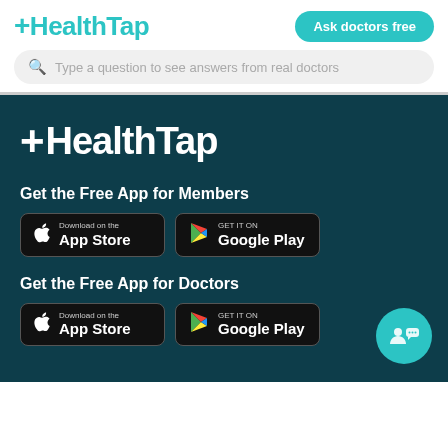[Figure (logo): HealthTap logo in teal color with plus sign prefix]
[Figure (screenshot): Ask doctors free button - teal rounded rectangle]
[Figure (screenshot): Search bar: Type a question to see answers from real doctors]
[Figure (logo): HealthTap white logo on dark teal background]
Get the Free App for Members
[Figure (screenshot): App Store and Google Play download buttons for Members]
Get the Free App for Doctors
[Figure (screenshot): App Store and Google Play download buttons for Doctors]
[Figure (illustration): Teal circle chat support icon with doctor and patient silhouettes]